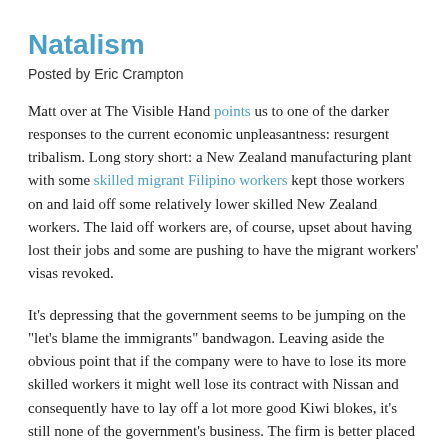Natalism
Posted by Eric Crampton
Matt over at The Visible Hand points us to one of the darker responses to the current economic unpleasantness: resurgent tribalism. Long story short: a New Zealand manufacturing plant with some skilled migrant Filipino workers kept those workers on and laid off some relatively lower skilled New Zealand workers. The laid off workers are, of course, upset about having lost their jobs and some are pushing to have the migrant workers' visas revoked.
It's depressing that the government seems to be jumping on the "let's blame the immigrants" bandwagon. Leaving aside the obvious point that if the company were to have to lose its more skilled workers it might well lose its contract with Nissan and consequently have to lay off a lot more good Kiwi blokes, it's still none of the government's business. The firm is better placed than the government to decide which of its employees are most important to keep on - and all the more so when many firms are